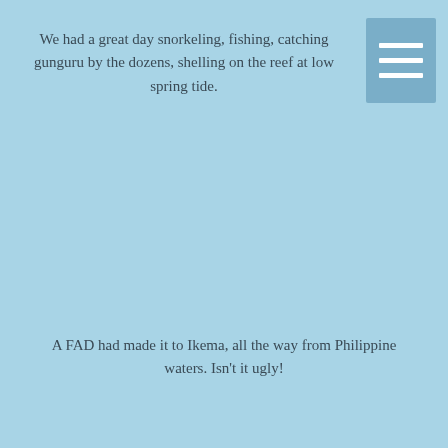We had a great day snorkeling, fishing, catching gunguru by the dozens, shelling on the reef at low spring tide.
[Figure (other): A hamburger menu icon — three horizontal white lines on a steel-blue rectangular background — overlapping the top-right corner of the text area.]
A FAD had made it to Ikema, all the way from Philippine waters. Isn't it ugly!